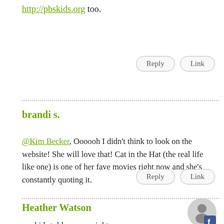http://pbskids.org too.
Reply   Link
brandi s.
@Kim Becker, Oooooh I didn't think to look on the website! She will love that! Cat in the Hat (the real life like one) is one of her fave movies right now and she's constantly quoting it.
Reply   Link
Heather Watson
[Figure (illustration): User avatar circle with Facebook icon overlay]
my kids told me one night over supper a